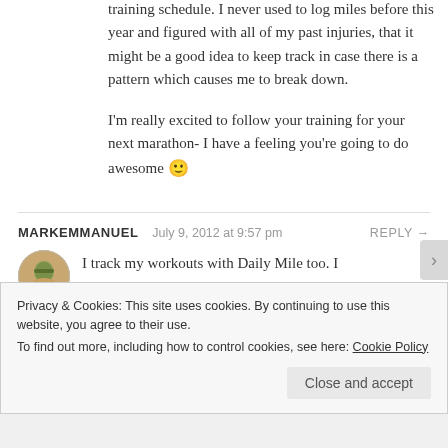training schedule. I never used to log miles before this year and figured with all of my past injuries, that it might be a good idea to keep track in case there is a pattern which causes me to break down.
I'm really excited to follow your training for your next marathon- I have a feeling you're going to do awesome 🙂
MARKEMMANUEL  July 9, 2012 at 9:57 pm  REPLY →
I track my workouts with Daily Mile too. I
Privacy & Cookies: This site uses cookies. By continuing to use this website, you agree to their use.
To find out more, including how to control cookies, see here: Cookie Policy
Close and accept